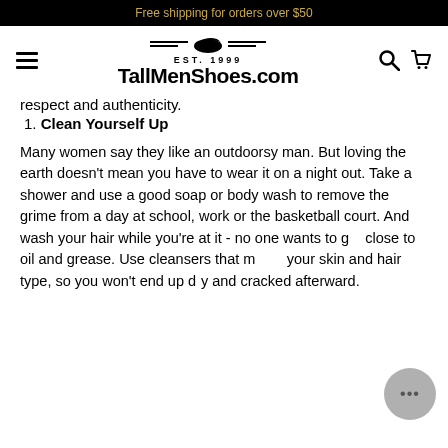Free shipping for orders over $50
[Figure (logo): TallMenShoes.com logo with shoe icon and EST. 1999 text, flanked by hamburger menu, search and cart icons]
respect and authenticity.
1. Clean Yourself Up
Many women say they like an outdoorsy man. But loving the earth doesn't mean you have to wear it on a night out. Take a shower and use a good soap or body wash to remove the grime from a day at school, work or the basketball court. And wash your hair while you're at it - no one wants to get close to oil and grease. Use cleansers that match your skin and hair type, so you won't end up dry and cracked afterward.